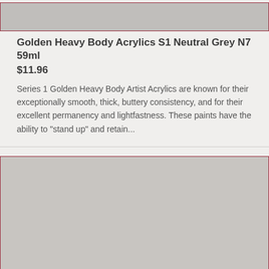[Figure (photo): Product image placeholder for Golden Heavy Body Acrylics S1 Neutral Grey N7 - grey rectangle with dark red border, shown cropped at top of page]
Golden Heavy Body Acrylics S1 Neutral Grey N7 59ml
$11.96
Series 1 Golden Heavy Body Artist Acrylics are known for their exceptionally smooth, thick, buttery consistency, and for their excellent permanency and lightfastness. These paints have the ability to "stand up" and retain...
[Figure (photo): Product image placeholder for Golden Heavy Body Acrylics S1 Neutral Grey N8 - large grey rectangle with dark red border]
Golden Heavy Body Acrylics S1 Neutral Grey N8 59ml